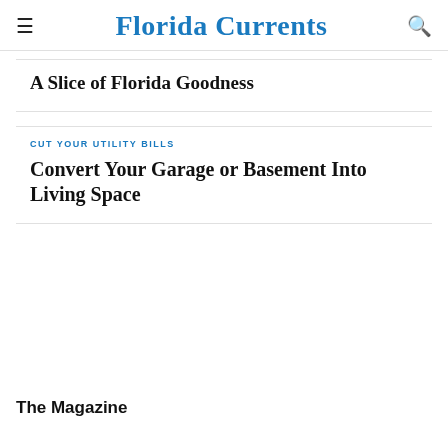Florida Currents
A Slice of Florida Goodness
CUT YOUR UTILITY BILLS
Convert Your Garage or Basement Into Living Space
The Magazine